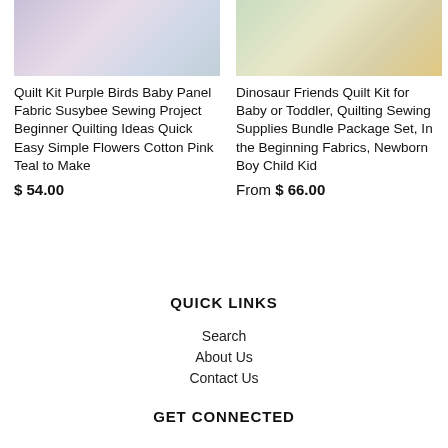[Figure (photo): Product photo of a quilt with purple birds pattern, pink and teal flowers on light blue background]
[Figure (photo): Product photo of a dinosaur friends quilt kit with colorful patches on white background]
Quilt Kit Purple Birds Baby Panel Fabric Susybee Sewing Project Beginner Quilting Ideas Quick Easy Simple Flowers Cotton Pink Teal to Make
Dinosaur Friends Quilt Kit for Baby or Toddler, Quilting Sewing Supplies Bundle Package Set, In the Beginning Fabrics, Newborn Boy Child Kid
$ 54.00
From $ 66.00
QUICK LINKS
Search
About Us
Contact Us
GET CONNECTED